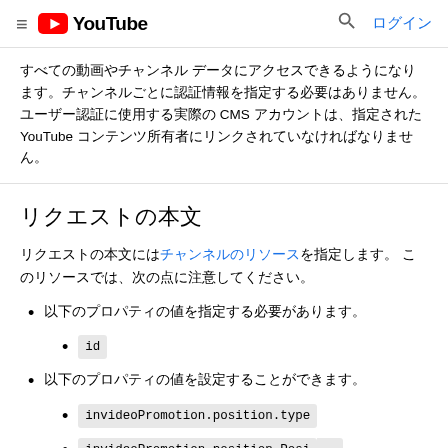≡ ▶ YouTube  🔍 ログイン
すべての動画やチャンネル データにアクセスできるようになります。チャンネルごとに認証情報を指定する必要はありません。ユーザー認証に使用する実際の CMS アカウントは、指定された YouTube コンテンツ所有者にリンクされていなければなりません。
リクエストの本文
リクエストの本文にはチャンネルのリソースを指定します。 このリソースでは、次の点に注意してください。
以下のプロパティの値を指定する必要があります。
id
以下のプロパティの値を設定することができます。
invideoPromotion.position.type
invideoPromotion.position.Posi...